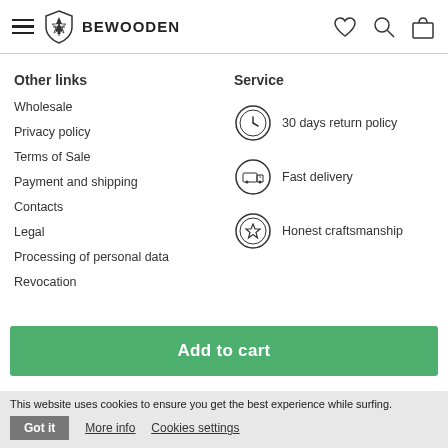BEWOODEN
Other links
Wholesale
Privacy policy
Terms of Sale
Payment and shipping
Contacts
Legal
Processing of personal data
Revocation
Service
30 days return policy
Fast delivery
Honest craftsmanship
Add to cart
This website uses cookies to ensure you get the best experience while surfing.
Got it  More info  Cookies settings